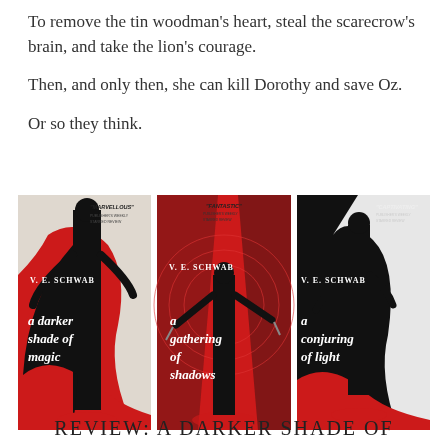To remove the tin woodman's heart, steal the scarecrow's brain, and take the lion's courage.

Then, and only then, she can kill Dorothy and save Oz.

Or so they think.
[Figure (illustration): Three book covers by V.E. Schwab side by side: 'A Darker Shade of Magic' (black/red/white), 'A Gathering of Shadows' (red/black), 'A Conjuring of Light' (black/white/red). Each has blurb quote at top.]
REVIEW: A DARKER SHADE OF